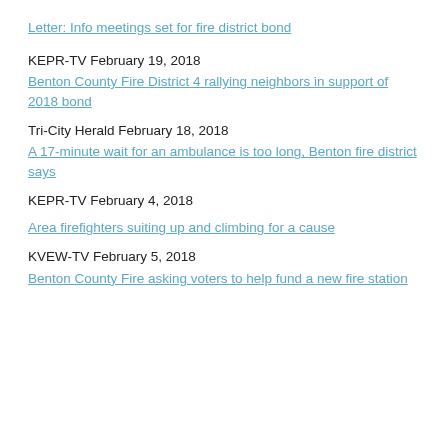Letter: Info meetings set for fire district bond
KEPR-TV February 19, 2018
Benton County Fire District 4 rallying neighbors in support of 2018 bond
Tri-City Herald February 18, 2018
A 17-minute wait for an ambulance is too long, Benton fire district says
KEPR-TV February 4, 2018
Area firefighters suiting up and climbing for a cause
KVEW-TV February 5, 2018
Benton County Fire asking voters to help fund a new fire station